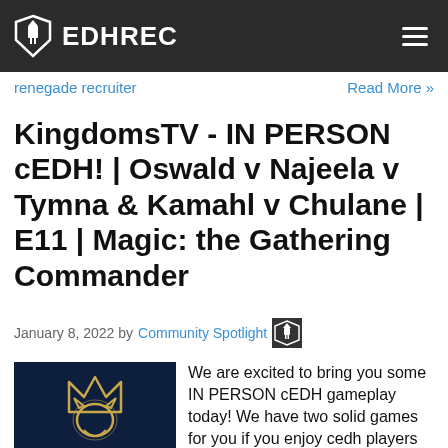EDHREC
renegade recruiter   Read More »
KingdomsTV - IN PERSON cEDH! | Oswald v Najeela v Tymna & Kamahl v Chulane | E11 | Magic: the Gathering Commander
January 8, 2022 by Community Spotlight
[Figure (logo): KingdomsTV logo — dark blue background with a golden outlined lion/crown symbol]
We are excited to bring you some IN PERSON cEDH gameplay today! We have two solid games for you if you enjoy cedh players fighting through